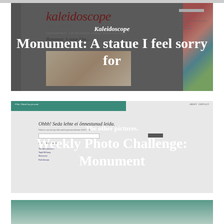[Figure (screenshot): Screenshot of the Kaleidoscope blog website showing a post titled 'Monument: A statue I feel sorry for'. The screenshot has a dark overlay with the website showing the kaleidoscope logo in dark red italic text, navigation links, category tags, and a partially visible photo. A colorful strip appears on the right side.]
Kaleidoscope
Monument: A statue I feel sorry for
[Figure (screenshot): Screenshot of a blog page showing a 404/not found error page with teal header bar reading 'Fide: Votud luu ja sead.' with Estonian error message 'Ohhh! Seda lehte ei onnestunud leida.' The page has a search input and list of links.]
The other pictures.
Weekly Photo Challenge: Monument
[Figure (screenshot): Partial screenshot of another website with a teal/green header, partially visible at the bottom of the page.]